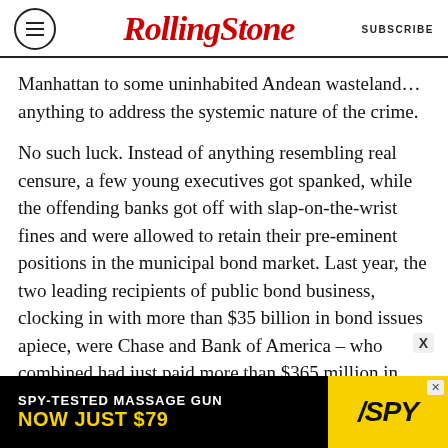Rolling Stone  SUBSCRIBE
Manhattan to some uninhabited Andean wasteland… anything to address the systemic nature of the crime.
No such luck. Instead of anything resembling real censure, a few young executives got spanked, while the offending banks got off with slap-on-the-wrist fines and were allowed to retain their pre-eminent positions in the municipal bond market. Last year, the two leading recipients of public bond business, clocking in with more than $35 billion in bond issues apiece, were Chase and Bank of America – who combined had just paid more than $365 million in fines for their role in the
[Figure (other): Advertisement banner: SPY-TESTED MASSAGE GUN NOW JUST $79 with SPY logo on yellow background]